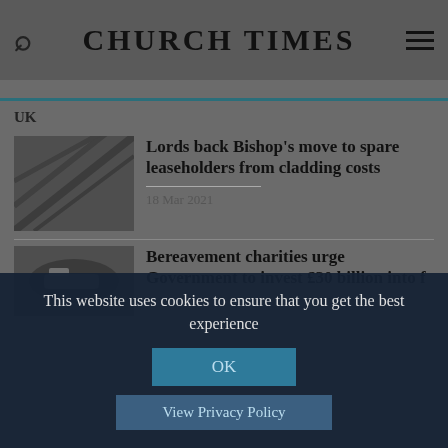CHURCH TIMES
UK
[Figure (photo): Building facade with cladding, architectural photo]
Lords back Bishop's move to spare leaseholders from cladding costs
18 Mar 2021
[Figure (photo): Stack of books or documents, partially visible]
Bereavement charities urge Government to invest £30 billion into...
This website uses cookies to ensure that you get the best experience
OK
View Privacy Policy